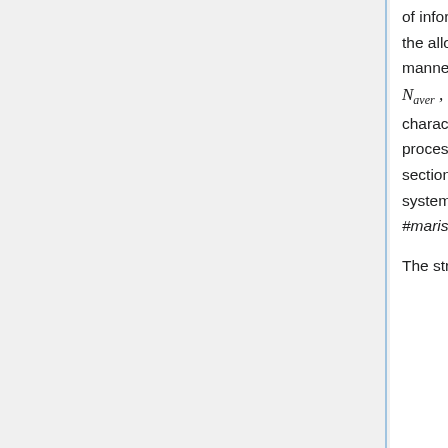of information. The on-board processing of the scientific data used by Planck/LFI to fit the allowed data-rate is an intrinsically lossy process which distorts the signal in a manner which depends on a set of five free parameters ( N_aver, r1, r2, q, O ) for each of the 44 LFI detectors. A brief description of the characteristics of this algorithm and the level of distortion introduced by the on-board processing as a function of these parameters can be found in the corresponding section of the Annexes, a full description of the Planck LFI on-board data handling system and the tuning and optimization method of the on-board processing chain in #maris2009.
The strategy adopted to fit into the bandwidth relies on three on-board